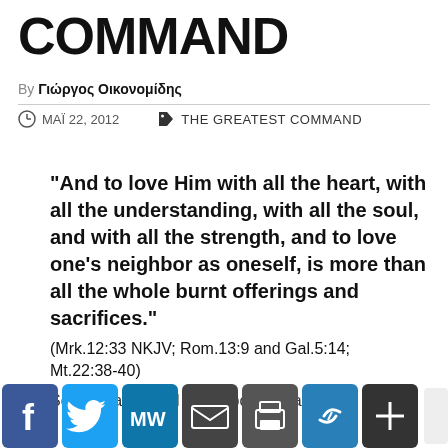COMMAND
By Γιώργος Οικονομίδης
ΜΑΪ 22, 2012   THE GREATEST COMMAND
“And to love Him with all the heart, with all the understanding, with all the soul, and with all the strength, and to love one’s neighbor as oneself, is more than all the whole burnt offerings and sacrifices.”
(Mrk.12:33 NKJV; Rom.13:9 and Gal.5:14; Mt.22:38-40)
Some years ago, I saw a poster that has